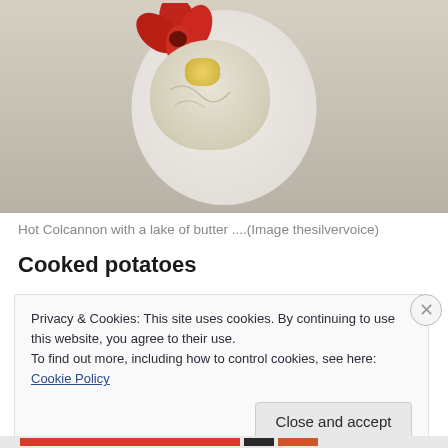[Figure (photo): Photo of Hot Colcannon (mashed potato dish with herbs) served on a decorated plate with red flower, with a lake of melted butter on top]
Hot Colcannon with a lake of butter ....(Image thesilvervoice)
Cooked potatoes
Privacy & Cookies: This site uses cookies. By continuing to use this website, you agree to their use.
To find out more, including how to control cookies, see here: Cookie Policy
Close and accept